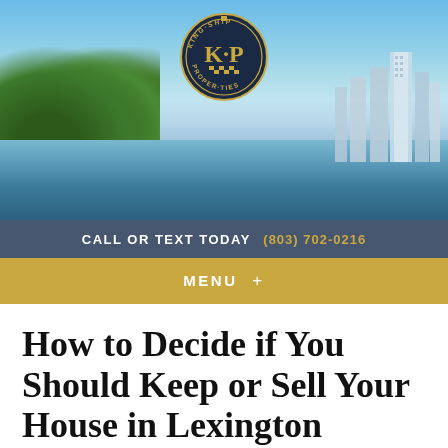[Figure (photo): Header banner with beach/ocean scene, palm trees on the left, city skyline on the right, and a circular KP (Kingship Properties) logo centered at the top]
CALL OR TEXT TODAY  (803) 702-0216
MENU  +
How to Decide if You Should Keep or Sell Your House in Lexington
January 7, 2020